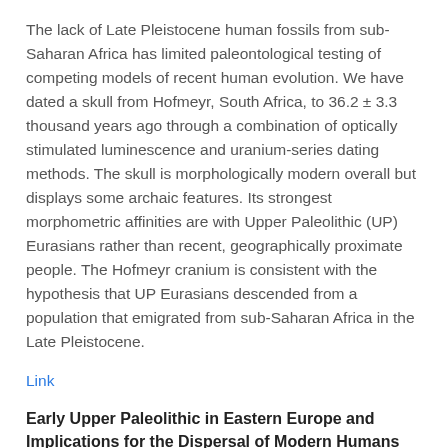The lack of Late Pleistocene human fossils from sub-Saharan Africa has limited paleontological testing of competing models of recent human evolution. We have dated a skull from Hofmeyr, South Africa, to 36.2 ± 3.3 thousand years ago through a combination of optically stimulated luminescence and uranium-series dating methods. The skull is morphologically modern overall but displays some archaic features. Its strongest morphometric affinities are with Upper Paleolithic (UP) Eurasians rather than recent, geographically proximate people. The Hofmeyr cranium is consistent with the hypothesis that UP Eurasians descended from a population that emigrated from sub-Saharan Africa in the Late Pleistocene.
Link
Early Upper Paleolithic in Eastern Europe and Implications for the Dispersal of Modern Humans
M. V. Anikovich et al.
Radiocarbon...